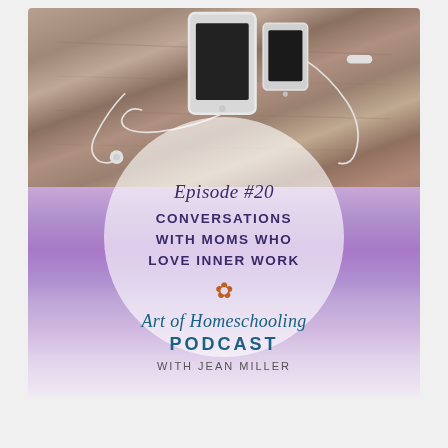[Figure (illustration): Podcast cover art for Art of Homeschooling Podcast Episode #20. Top half shows a wood-grain background with a tablet and smartphone device with white earbuds/headphones. A large semi-transparent white circle overlays the center showing the episode title and description text. Bottom half has a purple watercolor background with the podcast name and host name.]
Episode #20
CONVERSATIONS WITH MOMS WHO LOVE INNER WORK
Art of Homeschooling PODCAST
WITH JEAN MILLER